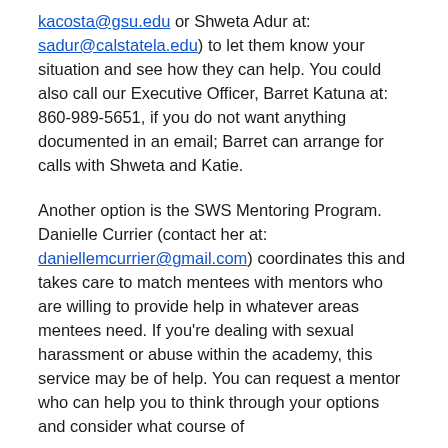kacosta@gsu.edu or Shweta Adur at: sadur@calstatela.edu) to let them know your situation and see how they can help. You could also call our Executive Officer, Barret Katuna at: 860-989-5651, if you do not want anything documented in an email; Barret can arrange for calls with Shweta and Katie.
Another option is the SWS Mentoring Program. Danielle Currier (contact her at: daniellemcurrier@gmail.com) coordinates this and takes care to match mentees with mentors who are willing to provide help in whatever areas mentees need. If you're dealing with sexual harassment or abuse within the academy, this service may be of help. You can request a mentor who can help you to think through your options and consider what course of